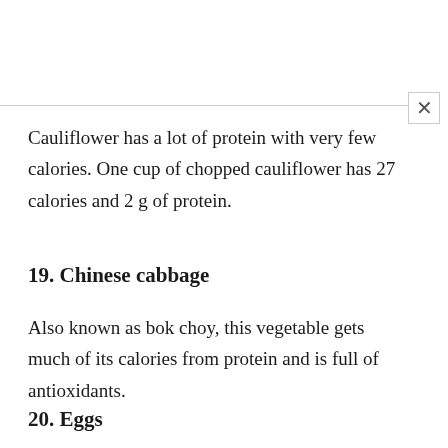Cauliflower has a lot of protein with very few calories. One cup of chopped cauliflower has 27 calories and 2 g of protein.
19. Chinese cabbage
Also known as bok choy, this vegetable gets much of its calories from protein and is full of antioxidants.
20. Eggs